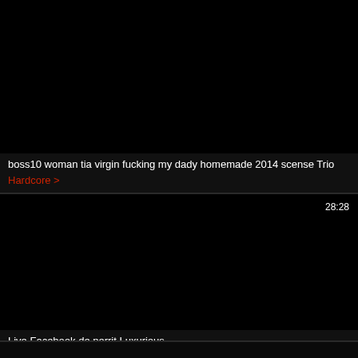[Figure (screenshot): Black thumbnail image for first video card]
boss10 woman tia virgin fucking my dady homemade 2014 scense Trio
Hardcore >
[Figure (screenshot): Black thumbnail image for second video card with duration 28:28]
Live Facebook de perrit Luxurious
Transgender >